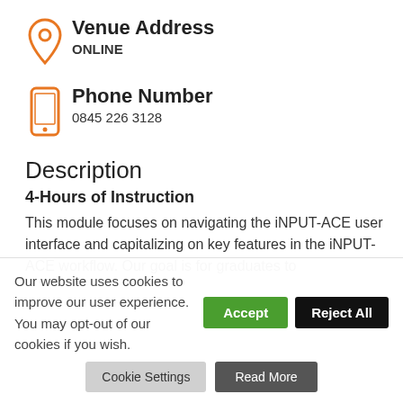Venue Address
ONLINE
Phone Number
0845 226 3128
Description
4-Hours of Instruction
This module focuses on navigating the iNPUT-ACE user interface and capitalizing on key features in the iNPUT-ACE workflow. Our goal is for graduates to
Our website uses cookies to improve our user experience. You may opt-out of our cookies if you wish.